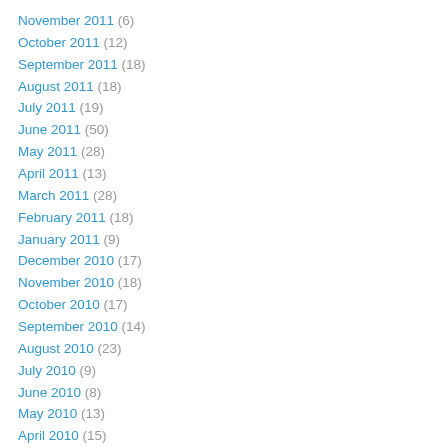November 2011 (6)
October 2011 (12)
September 2011 (18)
August 2011 (18)
July 2011 (19)
June 2011 (50)
May 2011 (28)
April 2011 (13)
March 2011 (28)
February 2011 (18)
January 2011 (9)
December 2010 (17)
November 2010 (18)
October 2010 (17)
September 2010 (14)
August 2010 (23)
July 2010 (9)
June 2010 (8)
May 2010 (13)
April 2010 (15)